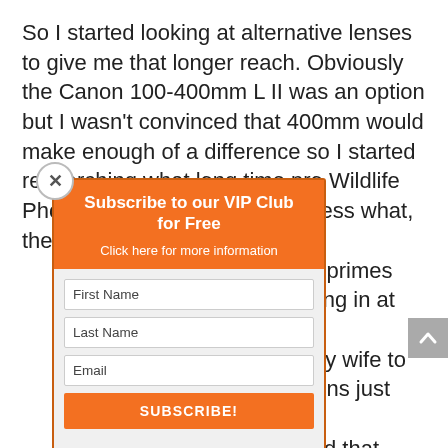So I started looking at alternative lenses to give me that longer reach. Obviously the Canon 100-400mm L II was an option but I wasn't convinced that 400mm would make enough of a difference so I started researching what long time pro Wildlife Photographers were using. Guess what, they …length primes …weighing in at …o ask my wife to …h on a lens just …iscovered that …d to introduce …culminating …nm models.
[Figure (other): Popup modal with orange background. Title: 'Subscribe to our VIP Club for Free'. Subtext: 'Click here for more information'. Form fields: First Name, Last Name, Email. Orange SUBSCRIBE! button. Privacy note: 'Privacy: We will never pass on your details to any third party'. Close button (x) in top-left corner.]